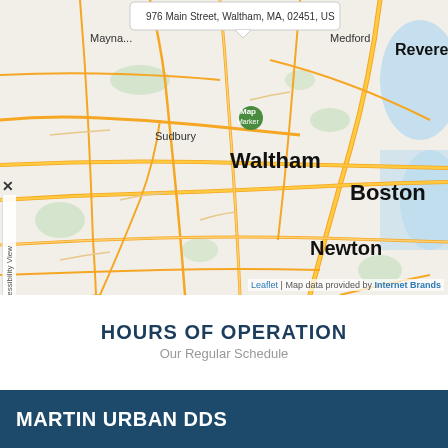[Figure (map): Street map centered on Waltham, MA showing surrounding areas including Framingham, Newton, Boston, Dedham, Norwood, Natick, Needham, Medford, and other towns. A location marker with popup tooltip is placed at 976 Main Street, Waltham, MA, 02451, US.]
HOURS OF OPERATION
Our Regular Schedule
MARTIN URBAN DDS